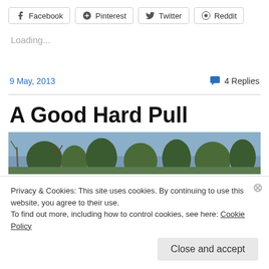Facebook  Pinterest  Twitter  Reddit
Loading...
9 May, 2013
4 Replies
A Good Hard Pull
[Figure (photo): Outdoor landscape photo showing trees and sky, partially visible]
Privacy & Cookies: This site uses cookies. By continuing to use this website, you agree to their use.
To find out more, including how to control cookies, see here: Cookie Policy
Close and accept